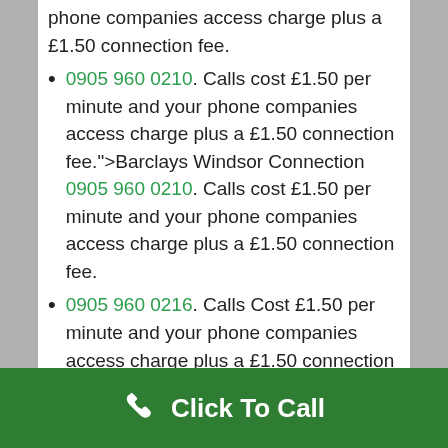phone companies access charge plus a £1.50 connection fee.
0905 960 0210. Calls cost £1.50 per minute and your phone companies access charge plus a £1.50 connection fee.">Barclays Windsor Connection 0905 960 0210. Calls cost £1.50 per minute and your phone companies access charge plus a £1.50 connection fee.
0905 960 0216. Calls Cost £1.50 per minute and your phone companies access charge plus a £1.50 connection fee">Liskeard NATWEST Connection Number 0905 960 0216. Calls Cost £1.50 per minute and your phone companies access charge plus a £1.50
[Figure (other): Green footer bar with white phone icon and text 'Click To Call']